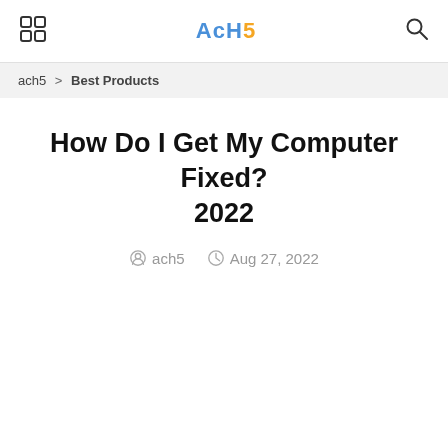ach5 navigation bar with grid icon, ACH5 logo, and search icon
ach5 > Best Products
How Do I Get My Computer Fixed? 2022
ach5   Aug 27, 2022